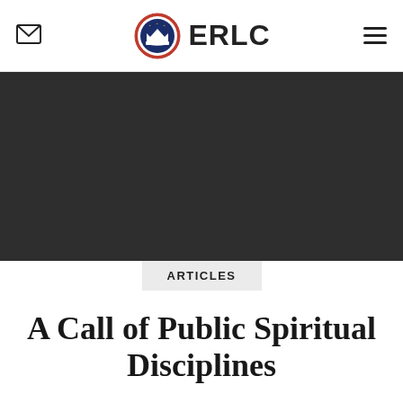ERLC
[Figure (photo): Dark hero image area, nearly black background]
ARTICLES
A Call of Public Spiritual Disciplines